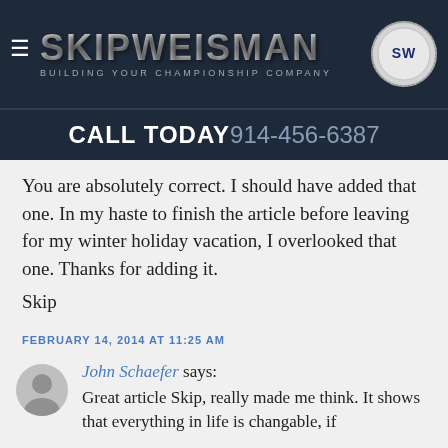[Figure (logo): Skip Weisman logo — 'Building Your Championship Company' with championship ring graphic on dark navy background]
CALL TODAY 914-456-6387
You are absolutely correct. I should have added that one. In my haste to finish the article before leaving for my winter holiday vacation, I overlooked that one. Thanks for adding it.
Skip
FEBRUARY 14, 2014 AT 11:25 AM
John Schaefer says: Great article Skip, really made me think. It shows that everything in life is changable, if